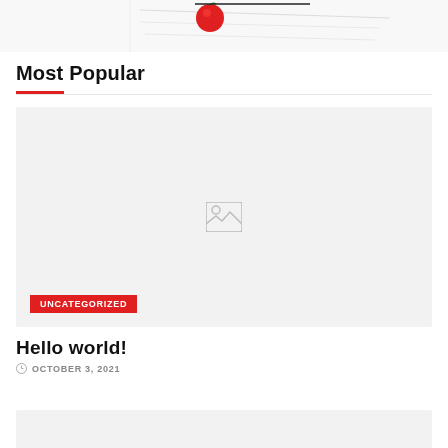[Figure (photo): Partial image strip at top showing a red sphere/tomato against a white background with faint line art]
Most Popular
[Figure (photo): Gray placeholder image box with a small landscape/image icon in the center, overlaid with red UNCATEGORIZED badge at bottom left]
Hello world!
OCTOBER 3, 2021
[Figure (photo): Bottom strip of another article card, partially visible, light gray background]